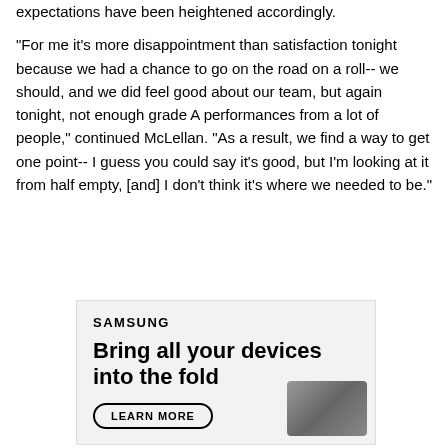expectations have been heightened accordingly.
"For me it's more disappointment than satisfaction tonight because we had a chance to go on the road on a roll-- we should, and we did feel good about our team, but again tonight, not enough grade A performances from a lot of people," continued McLellan. "As a result, we find a way to get one point-- I guess you could say it's good, but I'm looking at it from half empty, [and] I don't think it's where we needed to be."
[Figure (other): Samsung advertisement with logo, headline 'Bring all your devices into the fold', a 'LEARN MORE' button, and a partial image of devices.]